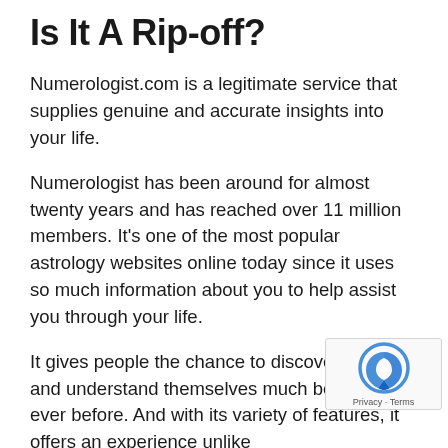Is It A Rip-off?
Numerologist.com is a legitimate service that supplies genuine and accurate insights into your life.
Numerologist has been around for almost twenty years and has reached over 11 million members. It’s one of the most popular astrology websites online today since it uses so much information about you to help assist you through your life.
It gives people the chance to discover, grow, and understand themselves much better than ever before. And with its variety of features, it offers an experience unlike